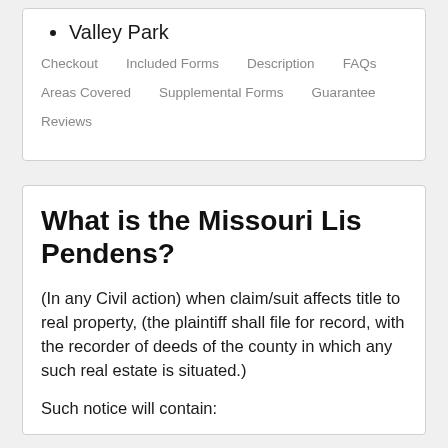Valley Park
Checkout    Included Forms    Description    FAQs    Areas Covered    Supplemental Forms    Guarantee    Reviews
What is the Missouri Lis Pendens?
(In any Civil action) when claim/suit affects title to real property, (the plaintiff shall file for record, with the recorder of deeds of the county in which any such real estate is situated.)
Such notice will contain: